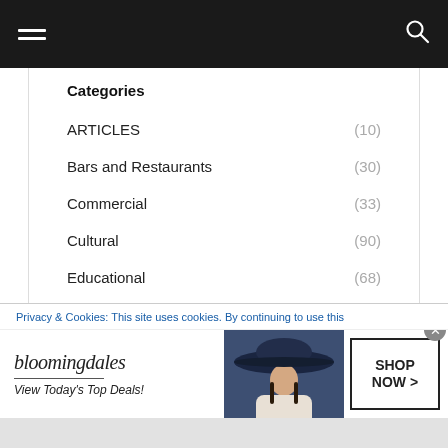Navigation bar with hamburger menu and search icon
Categories
ARTICLES (10)
Bars and Restaurants (30)
Commercial (33)
Cultural (90)
Educational (68)
Healthcare (21)
High Rise (9)
Hospitality (32)
Houses (95)
Privacy & Cookies: This site uses cookies. By continuing to use this
[Figure (screenshot): Bloomingdale's advertisement banner: logo, 'View Today's Top Deals!' tagline, woman with hat image, SHOP NOW button]